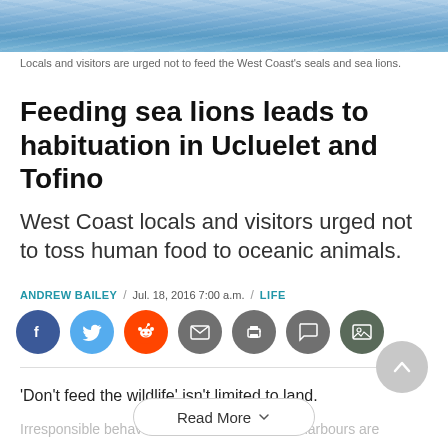[Figure (photo): Ocean water surface with blue rippling waves]
Locals and visitors are urged not to feed the West Coast's seals and sea lions.
Feeding sea lions leads to habituation in Ucluelet and Tofino
West Coast locals and visitors urged not to toss human food to oceanic animals.
ANDREW BAILEY / Jul. 18, 2016 7:00 a.m. / LIFE
[Figure (infographic): Social sharing icons: Facebook, Twitter, Reddit, Email, Print, Comment, Photo]
‘Don’t feed the wildlife’ isn’t limited to land.
Irresponsible behaviours around West Coast harbours are